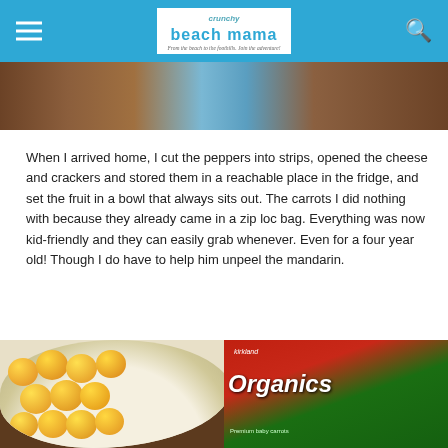Crunchy Beach Mama — From the beach to the foothills. Join the adventure!
[Figure (photo): Partial photo of food items in a blue bag on a wooden surface, cropped at top]
When I arrived home, I cut the peppers into strips, opened the cheese and crackers and stored them in a reachable place in the fridge, and set the fruit in a bowl that always sits out. The carrots I did nothing with because they already came in a zip loc bag. Everything was now kid-friendly and they can easily grab whenever. Even for a four year old! Though I do have to help him unpeel the mandarin.
[Figure (photo): Bowl of mandarin oranges on the left and a bag of Organics baby carrots on the right, on a wooden table surface]